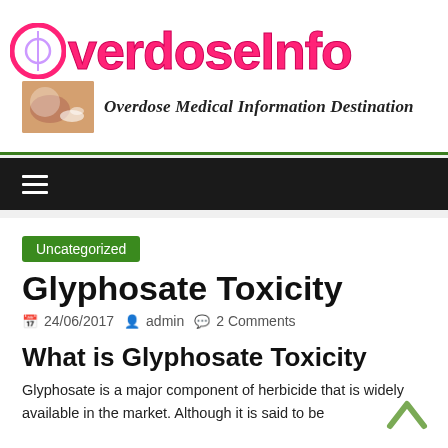[Figure (logo): OverdoseInfo website logo with pink/red bold text and small pill/medicine image, subtitle: Overdose Medical Information Destination]
≡ (navigation hamburger menu)
Uncategorized
Glyphosate Toxicity
24/06/2017  admin  2 Comments
What is Glyphosate Toxicity
Glyphosate is a major component of herbicide that is widely available in the market. Although it is said to be